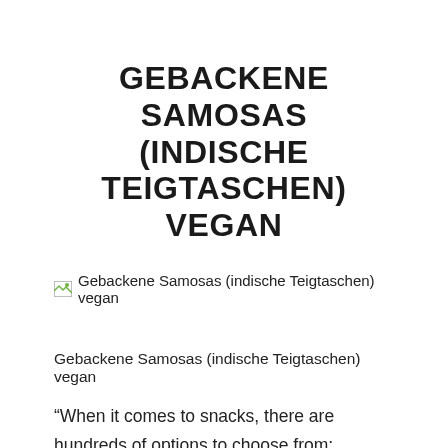GEBACKENE SAMOSAS (INDISCHE TEIGTASCHEN) VEGAN
[Figure (photo): Broken image placeholder with alt text: Gebackene Samosas (indische Teigtaschen) vegan]
Gebackene Samosas (indische Teigtaschen) vegan
“When it comes to snacks, there are hundreds of options to choose from; therefore we have listed our favorites for you. Decorate your guest table with the healthiest and most popular snacks and appetizers of all time. Will you have a party? Start your party immediately with suitable snacks and appetizers. How about starting your party with a